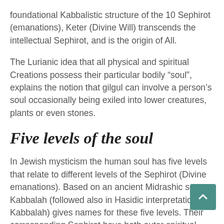foundational Kabbalistic structure of the 10 Sephirot (emanations), Keter (Divine Will) transcends the intellectual Sephirot, and is the origin of All.
The Lurianic idea that all physical and spiritual Creations possess their particular bodily “soul”, explains the notion that gilgul can involve a person’s soul occasionally being exiled into lower creatures, plants or even stones.
Five levels of the soul
In Jewish mysticism the human soul has five levels that relate to different levels of the Sephirot (Divine emanations). Based on an ancient Midrashic source, Kabbalah (followed also in Hasidic interpretation of Kabbalah) gives names for these five levels. Their corresponding Sephirot have both outer spiritual functions (work) and inner divine expressions.